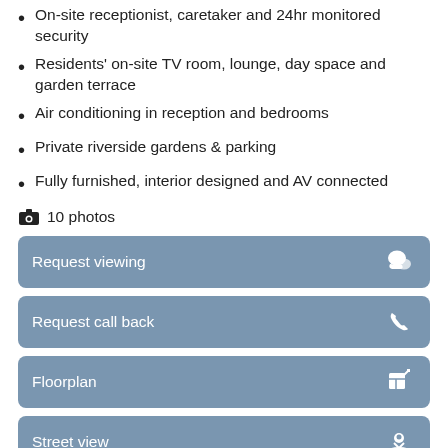On-site receptionist, caretaker and 24hr monitored security
Residents' on-site TV room, lounge, day space and garden terrace
Air conditioning in reception and bedrooms
Private riverside gardens & parking
Fully furnished, interior designed and AV connected
10 photos
Request viewing
Request call back
Floorplan
Street view
Location map